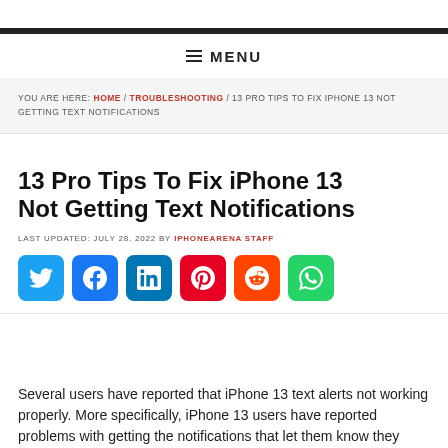≡ MENU
YOU ARE HERE: HOME / TROUBLESHOOTING / 13 PRO TIPS TO FIX IPHONE 13 NOT GETTING TEXT NOTIFICATIONS
13 Pro Tips To Fix iPhone 13 Not Getting Text Notifications
LAST UPDATED: JULY 28, 2022 BY IPHONEARENA STAFF
[Figure (other): Social share buttons: Twitter, Facebook, LinkedIn, Pinterest, Reddit, WhatsApp]
Several users have reported that iPhone 13 text alerts not working properly. More specifically, iPhone 13 users have reported problems with getting the notifications that let them know they have received